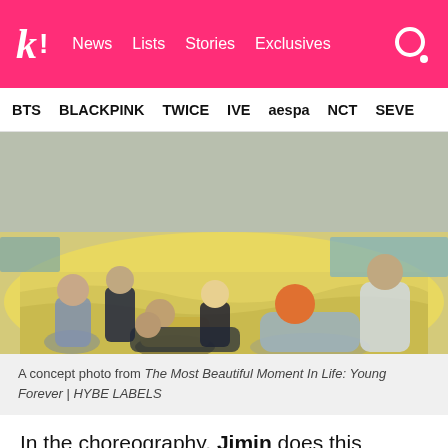k! | News  Lists  Stories  Exclusives
BTS  BLACKPINK  TWICE  IVE  aespa  NCT  SEVE
[Figure (photo): A concept photo of BTS members lying/posing on a yellow/gold fabric outdoors, from The Most Beautiful Moment In Life: Young Forever]
A concept photo from The Most Beautiful Moment In Life: Young Forever | HYBE LABELS
In the choreography, Jimin does this dramatic gesture while delivering the first verse. While it